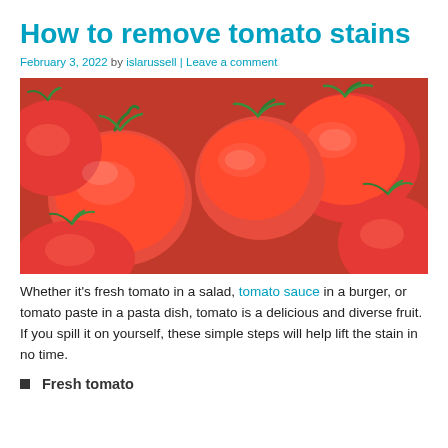How to remove tomato stains
February 3, 2022 by islarussell | Leave a comment
[Figure (photo): Close-up photo of many ripe red tomatoes with green stems]
Whether it's fresh tomato in a salad, tomato sauce in a burger, or tomato paste in a pasta dish, tomato is a delicious and diverse fruit. If you spill it on yourself, these simple steps will help lift the stain in no time.
Fresh tomato